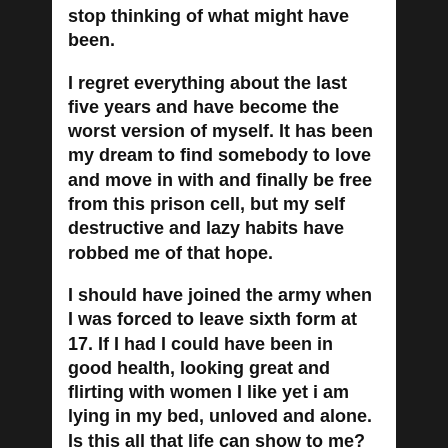stop thinking of what might have been.
I regret everything about the last five years and have become the worst version of myself. It has been my dream to find somebody to love and move in with and finally be free from this prison cell, but my self destructive and lazy habits have robbed me of that hope.
I should have joined the army when I was forced to leave sixth form at 17. If I had I could have been in good health, looking great and flirting with women I like yet i am lying in my bed, unloved and alone. Is this all that life can show to me?
I feel ashamed of myself for how I lived for the last four years. I know it's my fault I am in this mess and I should not be depressed about ruining my body and appearance as others have much worse problems. Yet, still; I must mourn!